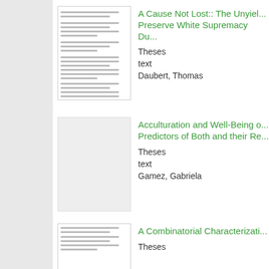[Figure (other): Thumbnail image of a thesis document page]
A Cause Not Lost:: The Unyielding Effort to Preserve White Supremacy Du...
Theses
text
Daubert, Thomas
[Figure (other): Thumbnail placeholder for a thesis document]
Acculturation and Well-Being o... Predictors of Both and their Re...
Theses
text
Gamez, Gabriela
[Figure (other): Thumbnail image of a thesis document page]
A Combinatorial Characterizati...
Theses